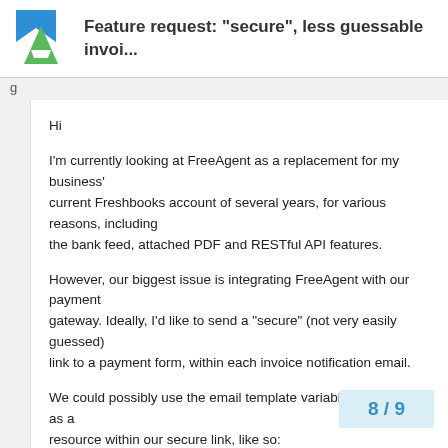Feature request: “secure”, less guessable invoi...
Hi

I’m currently looking at FreeAgent as a replacement for my business’
current Freshbooks account of several years, for various reasons, including
the bank feed, attached PDF and RESTful API features.

However, our biggest issue is integrating FreeAgent with our payment
gateway. Ideally, I’d like to send a “secure” (not very easily guessed)
link to a payment form, within each invoice notification email.

We could possibly use the email template variable [reference] as a
resource within our secure link, like so:
8 / 9